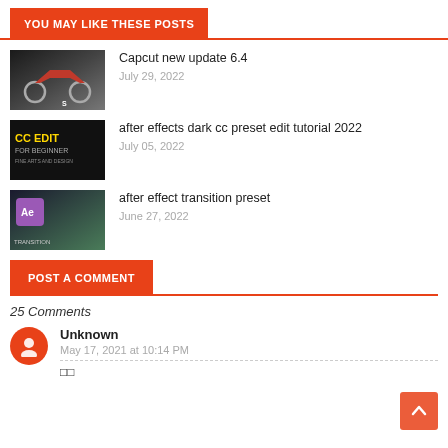YOU MAY LIKE THESE POSTS
[Figure (photo): Thumbnail image of motorcycle for Capcut new update 6.4 post]
Capcut new update 6.4
July 29, 2022
[Figure (photo): Thumbnail image for after effects dark cc preset edit tutorial 2022 post showing CC EDIT FOR BEGINNER text]
after effects dark cc preset edit tutorial 2022
July 05, 2022
[Figure (photo): Thumbnail image for after effect transition preset post showing Ae logo and TRANSITION text]
after effect transition preset
June 27, 2022
POST A COMMENT
25 Comments
Unknown
May 17, 2021 at 10:14 PM
□□